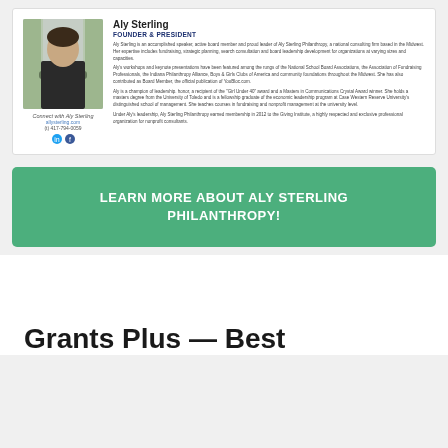[Figure (photo): Profile photo of Aly Sterling, a woman in a dark outfit with arms crossed, outdoors with blurred background]
Aly Sterling
FOUNDER & PRESIDENT
Aly Sterling is an accomplished speaker, active board member and proud leader of Aly Sterling Philanthropy, a national consulting firm based in the Midwest. Her expertise includes fundraising, strategic planning, search consultation and board leadership development for organizations at varying sizes and capacities.
Aly's workshops and keynote presentations have been featured among the rungs of the National School Board Associations, the Association of Fundraising Professionals, the Indiana Philanthropy Alliance, Boys & Girls Clubs of America and community foundations throughout the Midwest. She has also contributed as Board Member, the official publication of YouBloc.com.
Aly is a champion of leadership. honor, a recipient of the 'Girl Under 40' award and a Masters in Communications Crystal Award winner. She holds a masters degree from the University of Toledo and is a fellowship graduate of the economic leadership program at Case Western Reserve University's distinguished school of management. She teaches courses in fundraising and nonprofit management at the university level.
Under Aly's leadership, Aly Sterling Philanthropy earned membership in 2012 to the Giving Institute, a highly respected and exclusive professional organization for nonprofit consultants.
Connect with Aly Sterling
LEARN MORE ABOUT ALY STERLING PHILANTHROPY!
Grants Plus — Best